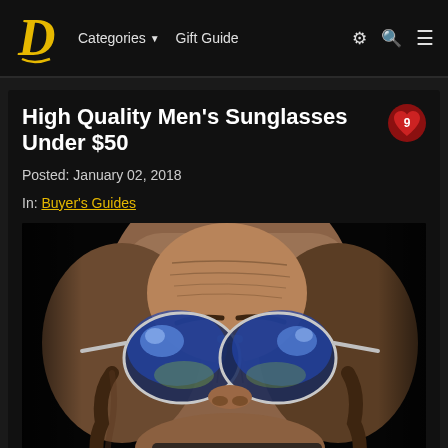D   Categories ▼   Gift Guide   ⚙  🔍  ≡
High Quality Men's Sunglasses Under $50
Posted: January 02, 2018
In: Buyer's Guides
[Figure (photo): Close-up portrait of an older man wearing blue mirrored aviator sunglasses against a dark background]